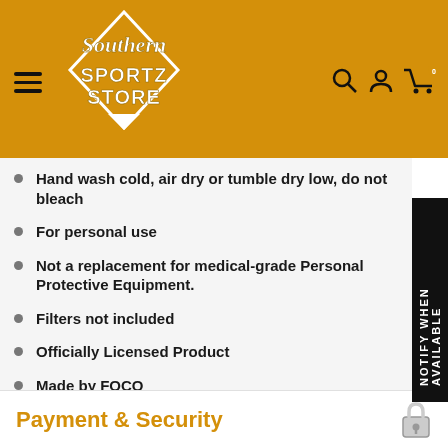[Figure (logo): Southern Sportz Store logo with hamburger menu, search, account, and cart icons on a golden/amber header bar]
Hand wash cold, air dry or tumble dry low, do not bleach
For personal use
Not a replacement for medical-grade Personal Protective Equipment.
Filters not included
Officially Licensed Product
Made by FOCO
NOTE: The Face Cover Masks are not medical devices.
Payment & Security